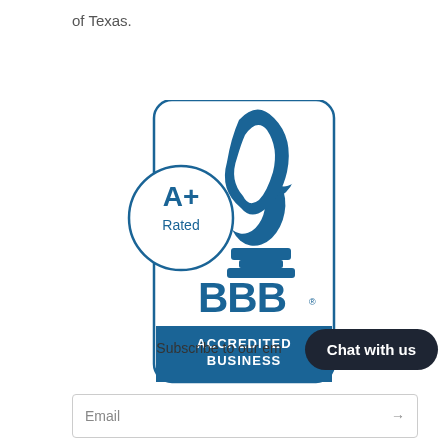of Texas.
[Figure (logo): Better Business Bureau (BBB) Accredited Business badge with A+ Rated circle on the left and the BBB torch logo with 'ACCREDITED BUSINESS' banner at the bottom in blue and white.]
Subscribe to our em
Chat with us
Email →